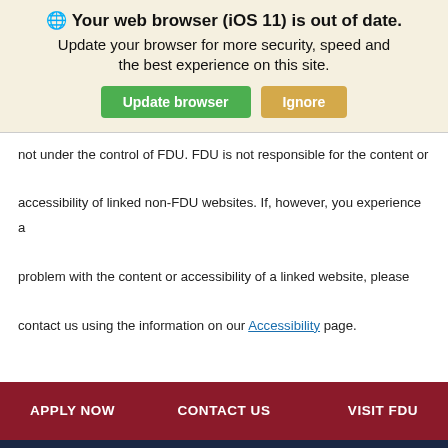[Figure (screenshot): Browser update notification banner with globe icon, bold title 'Your web browser (iOS 11) is out of date.', subtitle text, and two buttons: green 'Update browser' and tan 'Ignore']
not under the control of FDU. FDU is not responsible for the content or accessibility of linked non-FDU websites. If, however, you experience a problem with the content or accessibility of a linked website, please contact us using the information on our Accessibility page.
APPLY NOW   CONTACT US   VISIT FDU
FOLLOW US
[Figure (infographic): Row of social media icons: Facebook, Instagram, Twitter, LinkedIn, YouTube, TikTok]